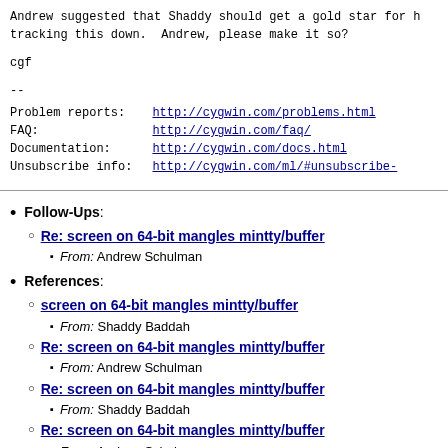Andrew suggested that Shaddy should get a gold star for h tracking this down.  Andrew, please make it so?
cgf
--
Problem reports:        http://cygwin.com/problems.html
FAQ:                    http://cygwin.com/faq/
Documentation:          http://cygwin.com/docs.html
Unsubscribe info:       http://cygwin.com/ml/#unsubscribe-
Follow-Ups:
Re: screen on 64-bit mangles mintty/buffer
From: Andrew Schulman
References:
screen on 64-bit mangles mintty/buffer
From: Shaddy Baddah
Re: screen on 64-bit mangles mintty/buffer
From: Andrew Schulman
Re: screen on 64-bit mangles mintty/buffer
From: Shaddy Baddah
Re: screen on 64-bit mangles mintty/buffer
From: Andrew Schulman